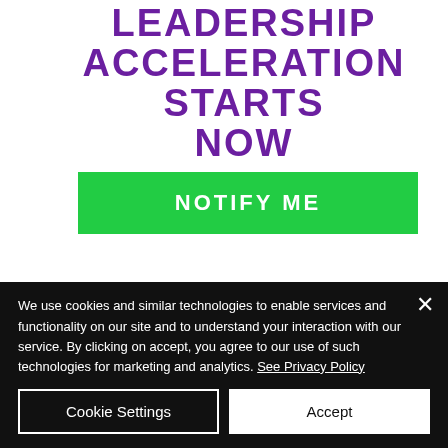LEADERSHIP ACCELERATION STARTS NOW
NOTIFY ME
We use cookies and similar technologies to enable services and functionality on our site and to understand your interaction with our service. By clicking on accept, you agree to our use of such technologies for marketing and analytics. See Privacy Policy
Cookie Settings
Accept